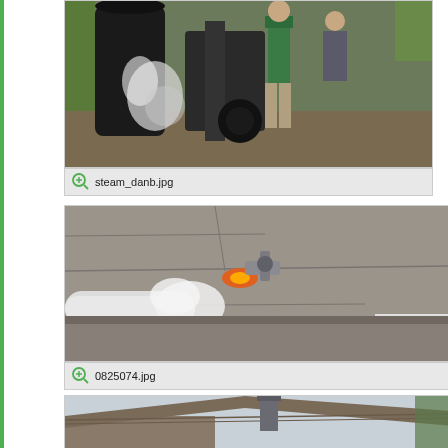[Figure (photo): Two men working with industrial steam equipment, large black cylindrical vessel with steam rising, outdoor workshop setting]
steam_danb.jpg
[Figure (photo): Close-up of industrial pipe fitting or valve on a rough concrete or stone surface, steam or gas venting from connection, insulated pipes visible]
0825074.jpg
[Figure (photo): Partial view of a barn or building roofline with shingle roof and a chimney or vent stack, trees visible in background]